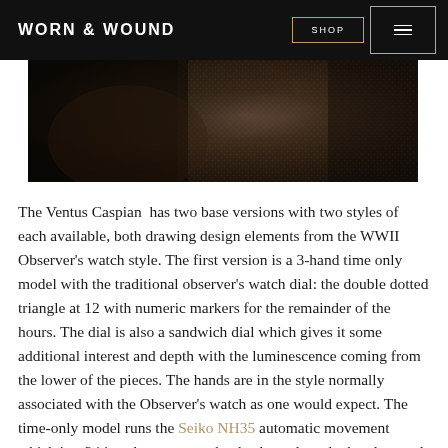WORN & WOUND | SHOP [menu]
[Figure (photo): Close-up photo of a watch on a wrist with a mesh/textile strap, dark moody lighting with brown and black tones.]
The Ventus Caspian  has two base versions with two styles of each available, both drawing design elements from the WWII Observer's watch style. The first version is a 3-hand time only model with the traditional observer's watch dial: the double dotted triangle at 12 with numeric markers for the remainder of the hours. The dial is also a sandwich dial which gives it some additional interest and depth with the luminescence coming from the lower of the pieces. The hands are in the style normally associated with the Observer's watch as one would expect. The time-only model runs the Seiko NH35 automatic movement which is a 24 jewel movement that hacks and can be hand wound, beating at 21,600bph.